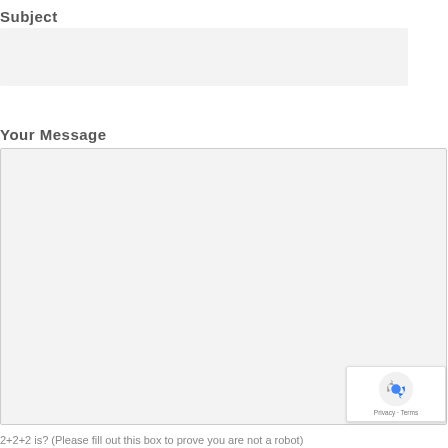Subject
[Figure (screenshot): Empty subject input text area box with light gray background]
Your Message
[Figure (screenshot): Large empty message textarea with light gray background and border, with reCAPTCHA badge in bottom right corner showing Google reCAPTCHA logo and Privacy - Terms text]
2+2+2 is? (Please fill out this box to prove you are not a robot)